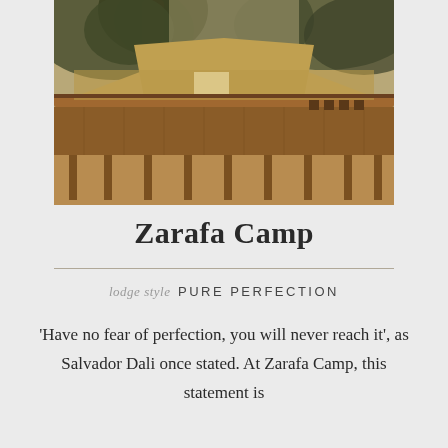[Figure (photo): A safari tent lodge elevated on wooden stilts, with a large tree in the foreground and dry savanna surroundings. The tent has a canvas roof and a wooden deck with chairs.]
Zarafa Camp
lodge style PURE PERFECTION
'Have no fear of perfection, you will never reach it', as Salvador Dali once stated. At Zarafa Camp, this statement is